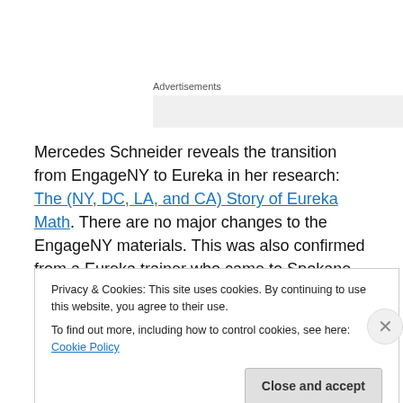Advertisements
Mercedes Schneider reveals the transition from EngageNY to Eureka in her research: The (NY, DC, LA, and CA) Story of Eureka Math. There are no major changes to the EngageNY materials. This was also confirmed from a Eureka trainer who came to Spokane last year.
Privacy & Cookies: This site uses cookies. By continuing to use this website, you agree to their use.
To find out more, including how to control cookies, see here: Cookie Policy
Close and accept